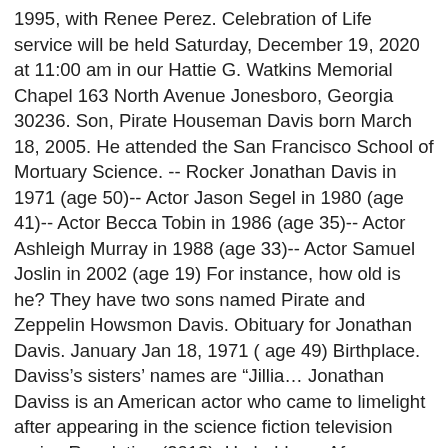1995, with Renee Perez. Celebration of Life service will be held Saturday, December 19, 2020 at 11:00 am in our Hattie G. Watkins Memorial Chapel 163 North Avenue Jonesboro, Georgia 30236. Son, Pirate Houseman Davis born March 18, 2005. He attended the San Francisco School of Mortuary Science. -- Rocker Jonathan Davis in 1971 (age 50)-- Actor Jason Segel in 1980 (age 41)-- Actor Becca Tobin in 1986 (age 35)-- Actor Ashleigh Murray in 1988 (age 33)-- Actor Samuel Joslin in 2002 (age 19) For instance, how old is he? They have two sons named Pirate and Zeppelin Howsmon Davis. Obituary for Jonathan Davis. January Jan 18, 1971 ( age 49) Birthplace. Daviss’s sisters’ names are “Jillia… Jonathan Daviss is an American actor who came to limelight after appearing in the science fiction television series Revolution (2013). He holds an Afro-American ethnicity. He’s played in Korn with Munky Shaffer, Reginald Arvizu, Ray Luzier, and David Silveria. In the year 2020, Jonathan Daviss’s age is 23 years old. Pope from Netflix’s Outer Banks is winning the hearts over of audience through his acting which is embodied by American actor Jonathan Daviss. As a child,